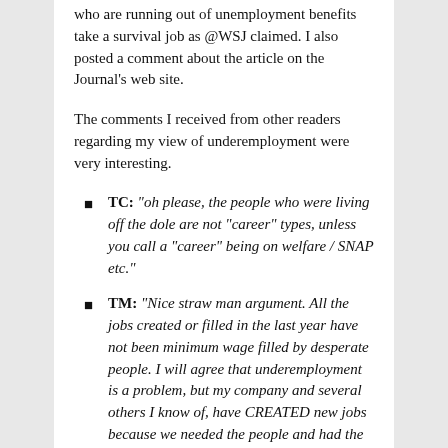who are running out of unemployment benefits take a survival job as @WSJ claimed. I also posted a comment about the article on the Journal's web site.
The comments I received from other readers regarding my view of underemployment were very interesting.
TC: “oh please, the people who were living off the dole are not “career” types, unless you call a “career” being on welfare / SNAP etc.”
TM: “Nice straw man argument. All the jobs created or filled in the last year have not been minimum wage filled by desperate people. I will agree that underemployment is a problem, but my company and several others I know of, have CREATED new jobs because we needed the people and had the work that needed doing – and these are well-paid jobs requiring skills.”
GC: “While the job may not be equal to what they had, they have returned to working. It then falls to the individual to take responsibility and improve their lot. If you doubt this, then please explain why